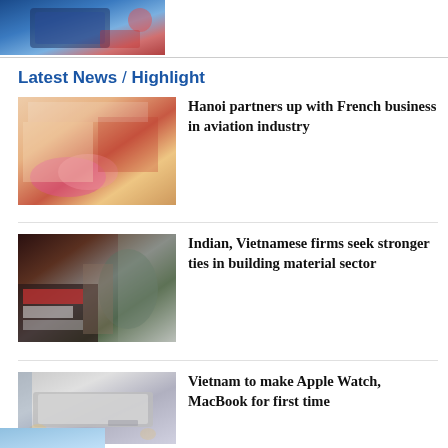[Figure (photo): Partial top image showing hands with a device, blue tones]
Latest News / Highlight
[Figure (photo): Conference/meeting scene with people in formal attire and flowers on table]
Hanoi partners up with French business in aviation industry
[Figure (photo): Speaker at podium with SYNERGIZE Vietnam CCI event banner, August 2023]
Indian, Vietnamese firms seek stronger ties in building material sector
[Figure (photo): MacBook laptop being opened, silver color on gray surface]
Vietnam to make Apple Watch, MacBook for first time
[Figure (photo): Bottom partial image, blue tones]